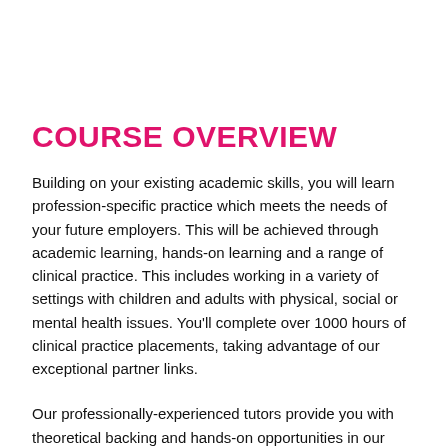COURSE OVERVIEW
Building on your existing academic skills, you will learn profession-specific practice which meets the needs of your future employers. This will be achieved through academic learning, hands-on learning and a range of clinical practice. This includes working in a variety of settings with children and adults with physical, social or mental health issues. You'll complete over 1000 hours of clinical practice placements, taking advantage of our exceptional partner links.
Our professionally-experienced tutors provide you with theoretical backing and hands-on opportunities in our varied